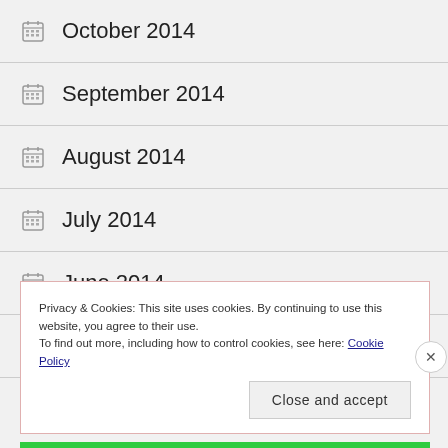October 2014
September 2014
August 2014
July 2014
June 2014
May 2014
Privacy & Cookies: This site uses cookies. By continuing to use this website, you agree to their use.
To find out more, including how to control cookies, see here: Cookie Policy
Close and accept